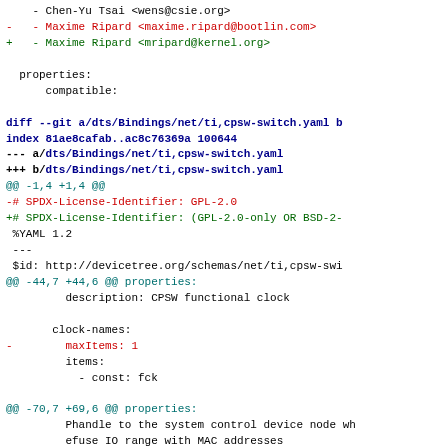maintainers:
    - Chen-Yu Tsai <wens@csie.org>
-   - Maxime Ripard <maxime.ripard@bootlin.com>
+   - Maxime Ripard <mripard@kernel.org>

  properties:
      compatible:

diff --git a/dts/Bindings/net/ti,cpsw-switch.yaml b
index 81ae8cafab..ac8c76369a 100644
--- a/dts/Bindings/net/ti,cpsw-switch.yaml
+++ b/dts/Bindings/net/ti,cpsw-switch.yaml
@@ -1,4 +1,4 @@
-# SPDX-License-Identifier: GPL-2.0
+# SPDX-License-Identifier: (GPL-2.0-only OR BSD-2-
 %YAML 1.2
 ---
 $id: http://devicetree.org/schemas/net/ti,cpsw-swi
@@ -44,7 +44,6 @@ properties:
         description: CPSW functional clock

       clock-names:
-        maxItems: 1
         items:
           - const: fck

@@ -70,7 +69,6 @@ properties:
         Phandle to the system control device node wh
         efuse IO range with MAC addresses

-